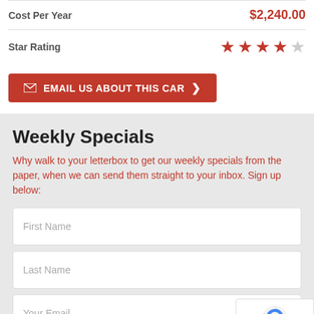| Cost Per Year | $2,240.00 |
| Star Rating | ★★★★☆ |
EMAIL US ABOUT THIS CAR
Weekly Specials
Why walk to your letterbox to get our weekly specials from the paper, when we can send them straight to your inbox. Sign up below:
First Name
Last Name
Your Email